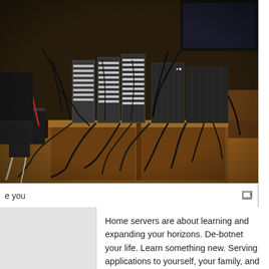[Figure (photo): A cluttered home server setup showing multiple dark-colored mini-PC or NAS server boxes arranged on a wooden table/cabinet, with numerous cables and wires tangled around them. The floor around the setup is also visible with cables. Background is dark/dim environment.]
e you
Home servers are about learning and expanding your horizons. De-botnet your life. Learn something new. Serving applications to yourself, your family, and your frons feels good. Put your /g/ skills